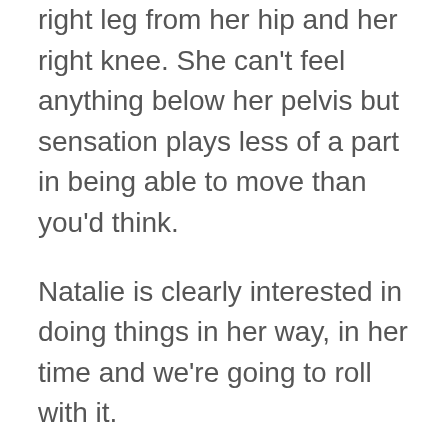right leg from her hip and her right knee. She can't feel anything below her pelvis but sensation plays less of a part in being able to move than you'd think.
Natalie is clearly interested in doing things in her way, in her time and we're going to roll with it.
Every child with SB is different. Some go on to need other surgeries in the future (shunt repairs, back surgery, bladder surgery, etc.) Really nobody knows until it happens, so we just have to watch Natalie and keep in touch with her doctors for anything that